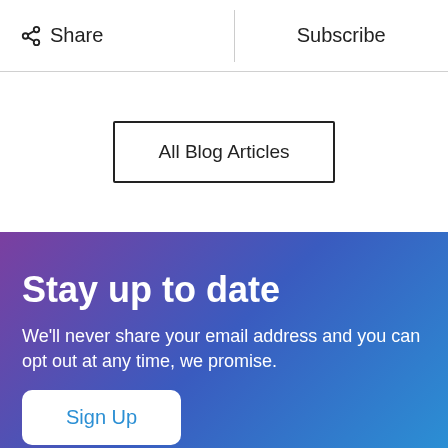Share  |  Subscribe
All Blog Articles
Stay up to date
We'll never share your email address and you can opt out at any time, we promise.
Sign Up